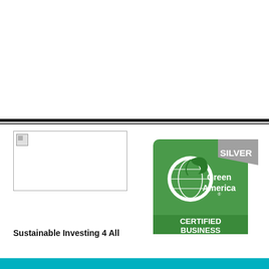[Figure (logo): Company logo placeholder image in top-left area below horizontal rules]
[Figure (logo): Green America Silver Certified Business badge — circular green globe icon with plant, silver ribbon banner reading SILVER, green text Green America with registered trademark, green rounded-rectangle bottom panel reading CERTIFIED BUSINESS in white bold text]
Sustainable Investing 4 All
[Figure (other): Teal/cyan horizontal bar at the bottom of the page]